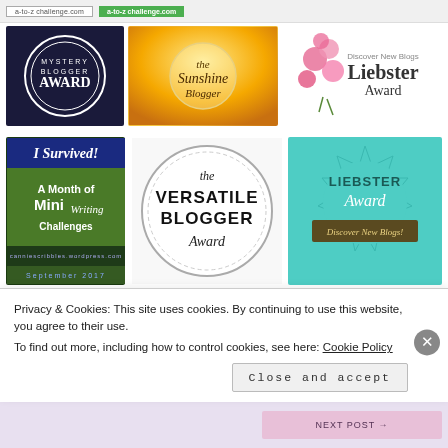[Figure (screenshot): Blog awards/badges collage page showing: top row with two small URL banner buttons (a-to-z challenge links), second row with Mystery Blogger Award badge (dark blue), Sunshine Blogger badge (golden), and Liebster Award badge (pink flowers). Third row: 'I Survived! A Month of Mini Writing Challenges September 2017', Versatile Blogger Award badge (circular), Liebster Award (teal seal). Fourth row (partially visible): Blogger Recognition Award (circular floral), The Unique Blogger (circular spotted). Cookie consent banner overlay at bottom.]
Privacy & Cookies: This site uses cookies. By continuing to use this website, you agree to their use.
To find out more, including how to control cookies, see here: Cookie Policy
Close and accept